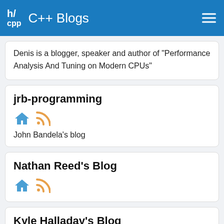h/cpp  C++ Blogs
Denis is a blogger, speaker and author of "Performance Analysis And Tuning on Modern CPUs"
jrb-programming
John Bandela's blog
Nathan Reed's Blog
Kyle Halladay's Blog
offlinemark